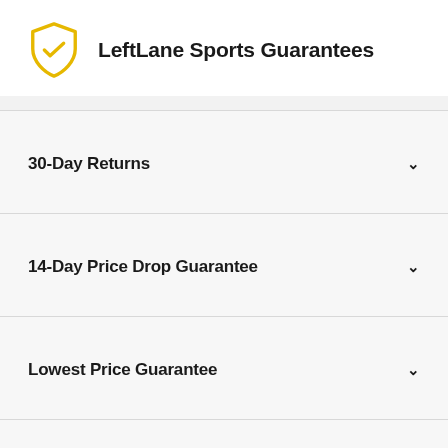LeftLane Sports Guarantees
30-Day Returns
14-Day Price Drop Guarantee
Lowest Price Guarantee
Lost Package Protection
Product Integrity Guarantee